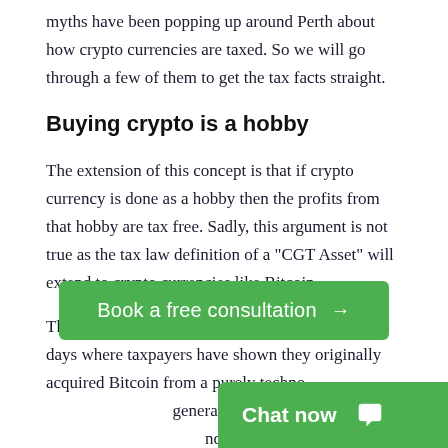myths have been popping up around Perth about how crypto currencies are taxed.  So we will go through a few of them to get the tax facts straight.
Buying crypto is a hobby
The extension of this concept is that if crypto currency is done as a hobby then the profits from that hobby are tax free.  Sadly, this argument is not true as the tax law definition of a “CGT Asset” will extend to crypto currencies like Bitcoin.
There are some private tax rulings from the early days where taxpayers have shown they originally acquired Bitcoin from a purely technological interest and not to generate profits.  And it is with the increasing growth and acceptance of Bitcoin (and its equivalents) becoming mainstream that this argument will be difficult …